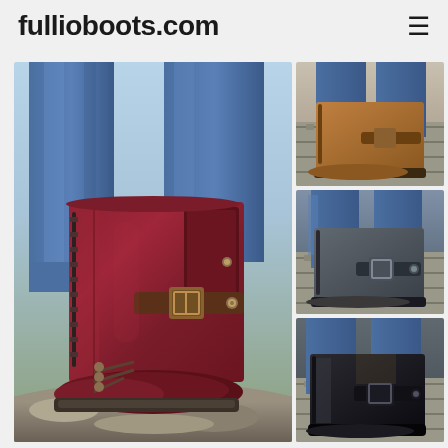fullioboots.com
[Figure (photo): Collage of knee-high riding boots in multiple colors: large main image shows burgundy/dark red leather boots with buckle detail and side zipper worn with blue jeans, outdoor rocky setting. Three smaller thumbnail images on the right show the same boot style in tan/brown, dark grey, and black colors, worn with blue jeans on metal steps.]